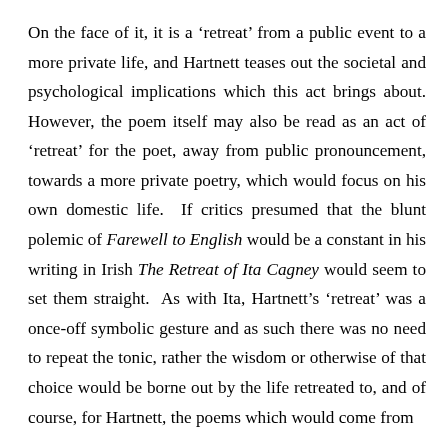On the face of it, it is a ‘retreat’ from a public event to a more private life, and Hartnett teases out the societal and psychological implications which this act brings about. However, the poem itself may also be read as an act of ‘retreat’ for the poet, away from public pronouncement, towards a more private poetry, which would focus on his own domestic life.  If critics presumed that the blunt polemic of Farewell to English would be a constant in his writing in Irish The Retreat of Ita Cagney would seem to set them straight.  As with Ita, Hartnett’s ‘retreat’ was a once-off symbolic gesture and as such there was no need to repeat the tonic, rather the wisdom or otherwise of that choice would be borne out by the life retreated to, and of course, for Hartnett, the poems which would come from